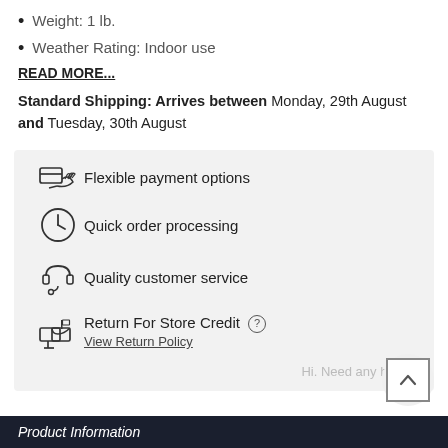Weight: 1 lb.
Weather Rating: Indoor use
READ MORE...
Standard Shipping: Arrives between Monday, 29th August and Tuesday, 30th August
[Figure (infographic): Info box with four rows: Flexible payment options (hand with card icon), Quick order processing (clock icon), Quality customer service (headset icon), Return For Store Credit with View Return Policy link (mailbox icon). Also shows a chat bubble saying Hi. Need any help?]
Hi. Need any help?
[Figure (other): Scroll to top button - circle with chevron up arrow inside a square]
Product Information